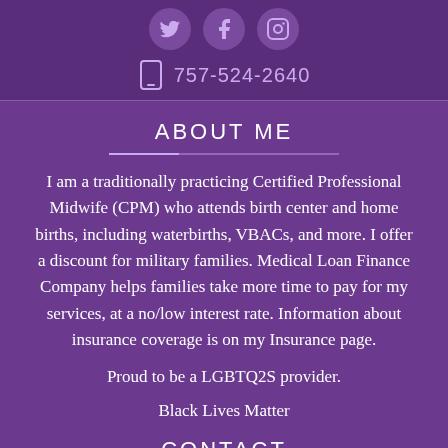[Figure (illustration): Three social media icon circles (Twitter bird, Facebook f, Instagram camera) in a purple top bar]
757-524-2640
ABOUT ME
I am a traditionally practicing Certified Professional Midwife (CPM) who attends birth center and home births, including waterbirths, VBACs, and more. I offer a discount for military families. Medical Loan Finance Company helps families take more time to pay for my services, at a no/low interest rate. Information about insurance coverage is on my Insurance page.
Proud to be a LGBTQ2S provider.
Black Lives Matter
CONTACT